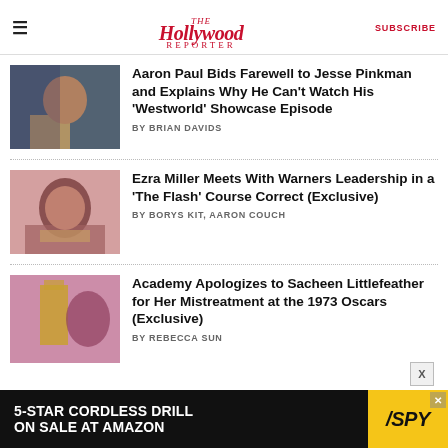The Hollywood Reporter — SUBSCRIBE
Aaron Paul Bids Farewell to Jesse Pinkman and Explains Why He Can't Watch His 'Westworld' Showcase Episode
BY BRIAN DAVIDS
Ezra Miller Meets With Warners Leadership in a 'The Flash' Course Correct (Exclusive)
BY BORYS KIT, AARON COUCH
Academy Apologizes to Sacheen Littlefeather for Her Mistreatment at the 1973 Oscars (Exclusive)
BY REBECCA SUN
[Figure (infographic): Advertisement: 5-STAR CORDLESS DRILL ON SALE AT AMAZON — SPY logo]